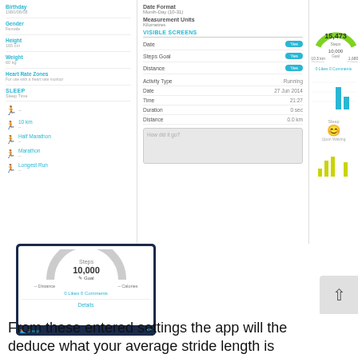[Figure (screenshot): Fitness app screenshot showing three panels: left panel with user settings (birthday, gender, height, weight, heart rate zones, sleep, and running goal rows), middle panel with date format, measurement units, visible screens toggles (Date, Steps Goal, Distance), and an activity log entry (Activity Type: Running, Date: 27 Jun 2014, Time: 21:27, Duration: 0 sec, Distance: 0.0 km, and a 'How did it go?' text area), and right panel showing a step counter gauge with 15,473 steps, 10,000 goal, 10.3 km distance, 1,680 calories, 0 Likes 0 Comments, a bar chart, a sleep section with a smiley face and 'Upon Waking' label, and a yellow bar chart.]
[Figure (screenshot): Mobile app screenshot on dark navy background showing a steps counter screen with Steps label, 10,000 goal with edit icon, Distance and Calories labels, '0 Likes 0 Comments' link, Details button, and a Sleep navigation bar at the bottom.]
From these entered settings the app will the deduce what your average stride length is